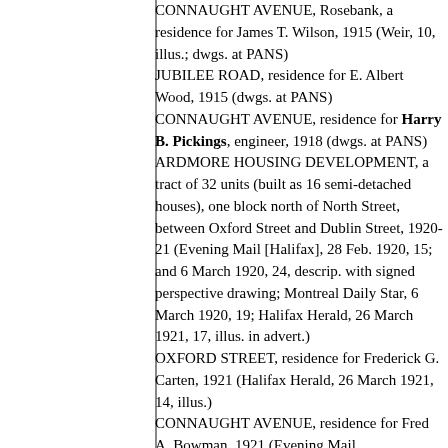CONNAUGHT AVENUE, Rosebank, a residence for James T. Wilson, 1915 (Weir, 10, illus.; dwgs. at PANS)
JUBILEE ROAD, residence for E. Albert Wood, 1915 (dwgs. at PANS)
CONNAUGHT AVENUE, residence for Harry B. Pickings, engineer, 1918 (dwgs. at PANS)
ARDMORE HOUSING DEVELOPMENT, a tract of 32 units (built as 16 semi-detached houses), one block north of North Street, between Oxford Street and Dublin Street, 1920-21 (Evening Mail [Halifax], 28 Feb. 1920, 15; and 6 March 1920, 24, descrip. with signed perspective drawing; Montreal Daily Star, 6 March 1920, 19; Halifax Herald, 26 March 1921, 17, illus. in advert.)
OXFORD STREET, residence for Frederick G. Carten, 1921 (Halifax Herald, 26 March 1921, 14, illus.)
CONNAUGHT AVENUE, residence for Fred A. Bowman, 1921 (Evening Mail